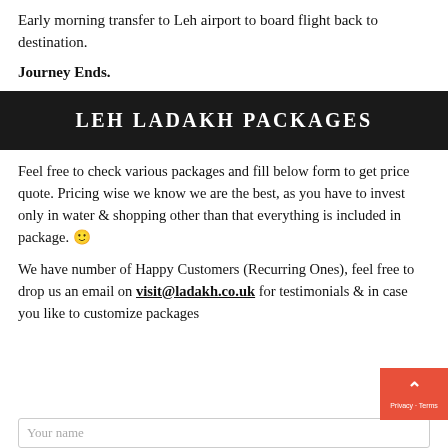Early morning transfer to Leh airport to board flight back to destination.
Journey Ends.
LEH LADAKH PACKAGES
Feel free to check various packages and fill below form to get price quote. Pricing wise we know we are the best, as you have to invest only in water & shopping other than that everything is included in package. 🙂
We have number of Happy Customers (Recurring Ones), feel free to drop us an email on visit@ladakh.co.uk for testimonials & in case you like to customize packages